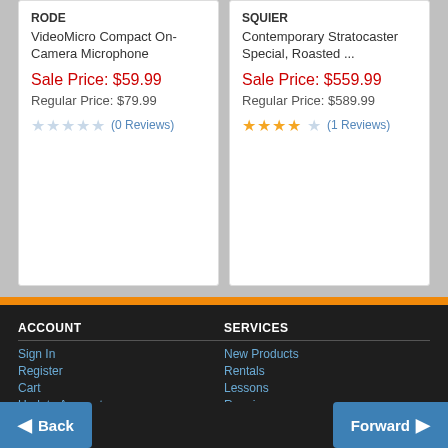[Figure (screenshot): Product card for RODE VideoMicro Compact On-Camera Microphone showing sale price $59.99, regular price $79.99, 0 reviews]
[Figure (screenshot): Product card for SQUIER Contemporary Stratocaster Special, Roasted ... showing sale price $559.99, regular price $589.99, 1 review with 3.5 stars]
ACCOUNT
Sign In
Register
Cart
Update Account
Make A Payment
My Orders
Gift Card Balance
SERVICES
New Products
Rentals
Lessons
Repairs
Trade Ins
Support
Financing